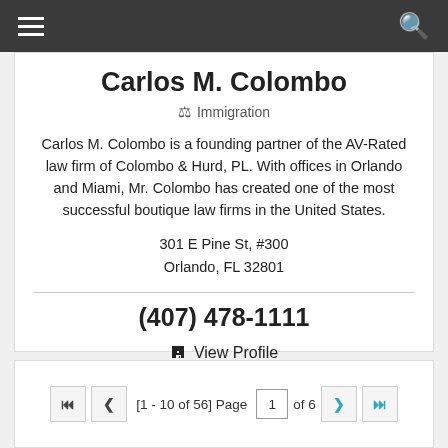Navigation bar with menu and search icons
Carlos M. Colombo
⚖ Immigration
Carlos M. Colombo is a founding partner of the AV-Rated law firm of Colombo & Hurd, PL. With offices in Orlando and Miami, Mr. Colombo has created one of the most successful boutique law firms in the United States.
301 E Pine St, #300
Orlando, FL 32801
(407) 478-1111
View Profile
[1 - 10 of 56] Page 1 of 6